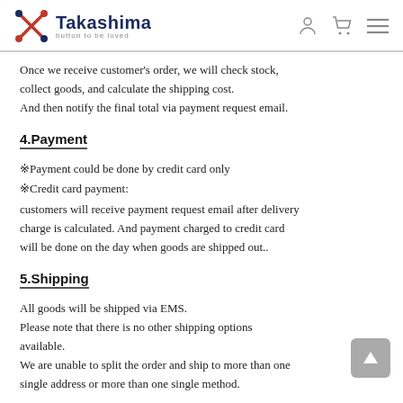Takashima — button to be loved
Once we receive customer's order, we will check stock, collect goods, and calculate the shipping cost.
And then notify the final total via payment request email.
4.Payment
※Payment could be done by credit card only
※Credit card payment:
customers will receive payment request email after delivery charge is calculated. And payment charged to credit card will be done on the day when goods are shipped out..
5.Shipping
All goods will be shipped via EMS.
Please note that there is no other shipping options available.
We are unable to split the order and ship to more than one single address or more than one single method.